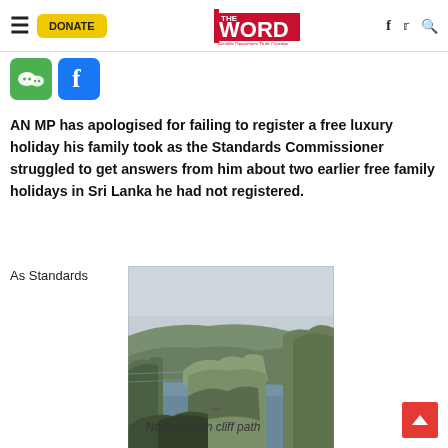THE WORD — Equality Democracy Truth Courage — navigation bar with hamburger, DONATE button, logo, social icons f, twitter, search
[Figure (other): Green WeChat icon and blue Facebook icon (social share buttons)]
AN MP has apologised for failing to register a free luxury holiday his family took as the Standards Commissioner struggled to get answers from him about two earlier free family holidays in Sri Lanka he had not registered.
As Standards
[Figure (photo): Aerial photograph of North Antrim cliff path showing dramatic coastal cliffs, green headlands, and grey sea under an overcast sky]
North Antrim cliff path